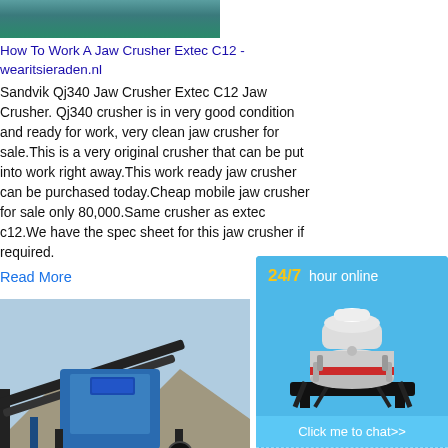[Figure (photo): Top portion of a crusher or industrial machine, cut off at top of page]
How To Work A Jaw Crusher Extec C12 - wearitsieraden.nl
Sandvik Qj340 Jaw Crusher Extec C12 Jaw Crusher. Qj340 crusher is in very good condition and ready for work, very clean jaw crusher for sale.This is a very original crusher that can be put into work right away.This work ready jaw crusher can be purchased today.Cheap mobile jaw crusher for sale only 80,000.Same crusher as extec c12.We have the spec sheet for this jaw crusher if required.
Read More
[Figure (photo): Industrial conveyor belt and crusher equipment in an outdoor setting with mountains in the background]
how to work a jaw crusher extec c12 in turkey
2021-5-19   EXTEC C12 JAWCrusher Hea Forums,Dec 21 2014 tio the pegson jaw sto a few moments the Extec jaw stock is a rig moving jaw again coming out in only a few
[Figure (infographic): Blue sidebar advertisement with 24/7 hour online text, image of a cone crusher machine, Click me to chat>> button, Enquiry section, and limingjlmofen text]